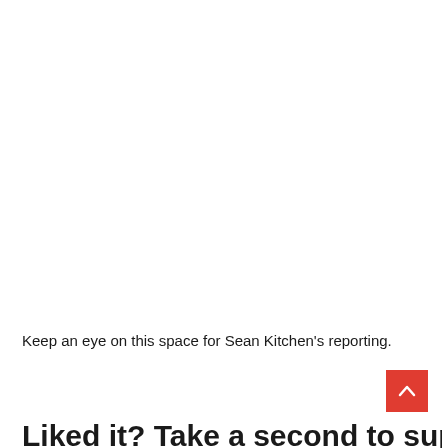Keep an eye on this space for Sean Kitchen's reporting.
Liked it? Take a second to support